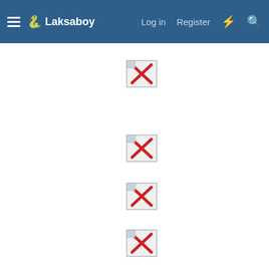Laksaboy — Log in  Register
[Figure (screenshot): Three broken image placeholders (image not found icons with red X) stacked vertically in the center of the post content area]
Last edited: Dec 1, 2020
sgbeautycastle
Myth  Member
Oct 31, 2020   #20
Please visit our official website below for the latest update of all gals!!!